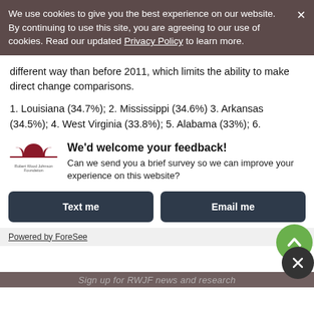We use cookies to give you the best experience on our website. By continuing to use this site, you are agreeing to our use of cookies. Read our updated Privacy Policy to learn more.
different way than before 2011, which limits the ability to make direct change comparisons.
1. Louisiana (34.7%); 2. Mississippi (34.6%) 3. Arkansas (34.5%); 4. West Virginia (33.8%); 5. Alabama (33%); 6. Oklahoma (32.2%); 7. South Carolina (31.6%); 8. Indiana (31.4%); 9. Kentucky (31.3%); 10. (tie) Michigan and Tennessee (31.1%); 12. Iowa (30.4%); 13. Ohio (30.1%); 14. Kansas (29.9%); 15. (tie) North Dakota and Wisconsin (29.7%); 17. (tie) Missouri and North...
Sign up for RWJF news and research
We'd welcome your feedback!
Can we send you a brief survey so we can improve your experience on this website?
Text me
Email me
Powered by ForeSee